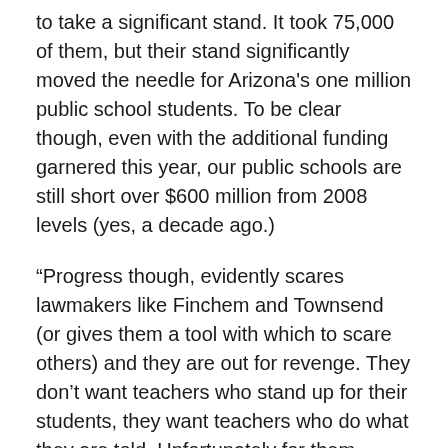to take a significant stand. It took 75,000 of them, but their stand significantly moved the needle for Arizona's one million public school students. To be clear though, even with the additional funding garnered this year, our public schools are still short over $600 million from 2008 levels (yes, a decade ago.)
“Progress though, evidently scares lawmakers like Finchem and Townsend (or gives them a tool with which to scare others) and they are out for revenge. They don’t want teachers who stand up for their students, they want teachers who do what they are told. Unfortunately for them, teachers are citizens first and still do enjoy certain Constitutional protections for protected speech.”
A great post.